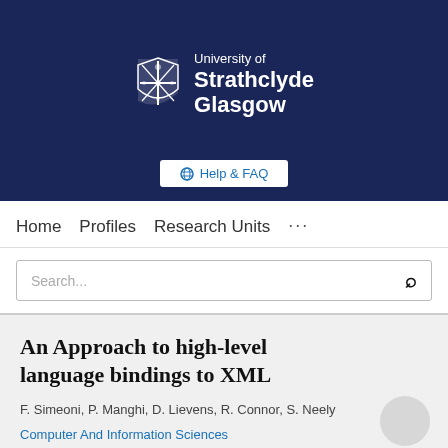[Figure (logo): University of Strathclyde Glasgow logo with shield emblem on dark navy banner]
Help & FAQ
Home   Profiles   Research Units   ...
Search...
An Approach to high-level language bindings to XML
F. Simeoni, P. Manghi, D. Lievens, R. Connor, S. Neely
Computer And Information Sciences